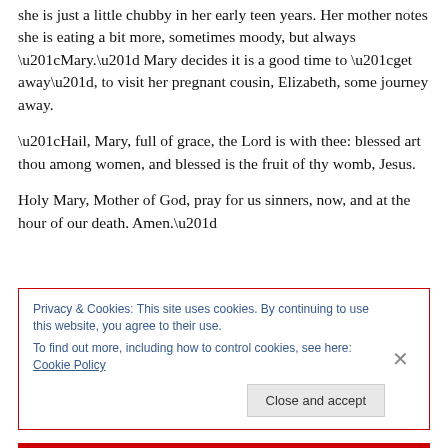she is just a little chubby in her early teen years. Her mother notes she is eating a bit more, sometimes moody, but always “Mary.” Mary decides it is a good time to “get away”, to visit her pregnant cousin, Elizabeth, some journey away.
“Hail, Mary, full of grace, the Lord is with thee: blessed art thou among women, and blessed is the fruit of thy womb, Jesus.
Holy Mary, Mother of God, pray for us sinners, now, and at the hour of our death. Amen.”
Privacy & Cookies: This site uses cookies. By continuing to use this website, you agree to their use.
To find out more, including how to control cookies, see here: Cookie Policy